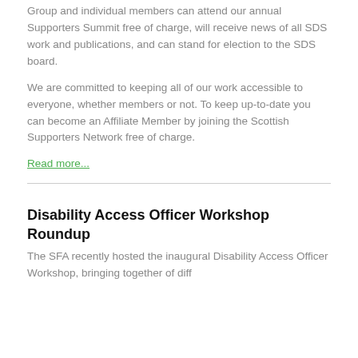Group and individual members can attend our annual Supporters Summit free of charge, will receive news of all SDS work and publications, and can stand for election to the SDS board.
We are committed to keeping all of our work accessible to everyone, whether members or not. To keep up-to-date you can become an Affiliate Member by joining the Scottish Supporters Network free of charge.
Read more...
Disability Access Officer Workshop Roundup
The SFA recently hosted the inaugural Disability Access Officer Workshop, bringing together of diff...